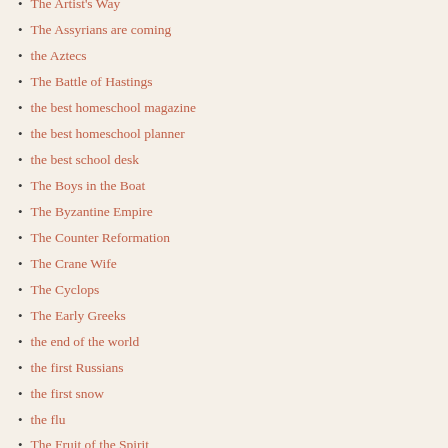The Artist's Way
The Assyrians are coming
the Aztecs
The Battle of Hastings
the best homeschool magazine
the best homeschool planner
the best school desk
The Boys in the Boat
The Byzantine Empire
The Counter Reformation
The Crane Wife
The Cyclops
The Early Greeks
the end of the world
the first Russians
the first snow
the flu
The Fruit of the Spirit